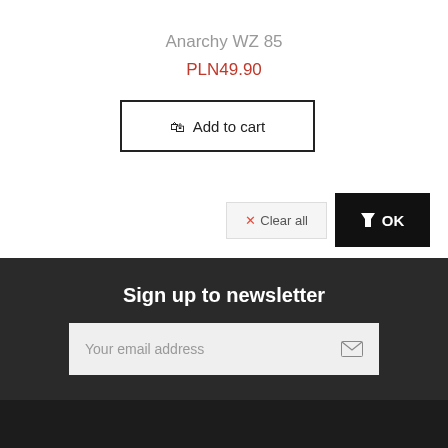Anarchy WZ 85
PLN49.90
Add to cart
✕Clear all
OK
Sign up to newsletter
Your email address
Information